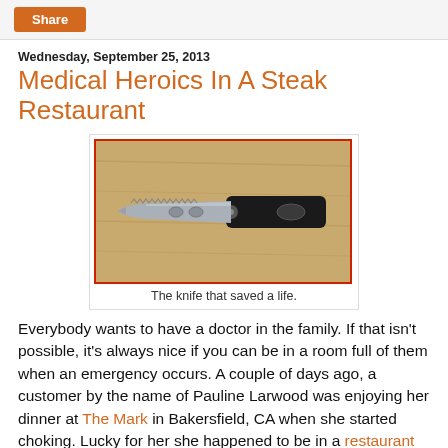Share
Wednesday, September 25, 2013
Medical Heroics In A Steak Restaurant
[Figure (photo): A folding pocket knife with a serrated blade and black handle lying on a wooden surface. Red border around the image.]
The knife that saved a life.
Everybody wants to have a doctor in the family. If that isn't possible, it's always nice if you can be in a room full of them when an emergency occurs. A couple of days ago, a customer by the name of Pauline Larwood was enjoying her dinner at The Mark in Bakersfield, CA when she started choking. Lucky for her she happened to be in a restaurant filled with physicians who were in town for a conference on Valley Fever.